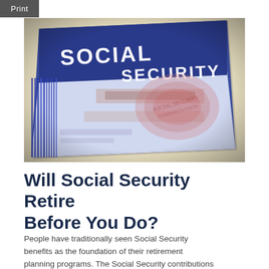Print
[Figure (photo): Close-up photograph of a US Social Security card at an angle, showing the blue card with 'SOCIAL SECURITY' text embossed, with blurred personal information fields.]
Will Social Security Retire Before You Do?
People have traditionally seen Social Security benefits as the foundation of their retirement planning programs. The Social Security contributions